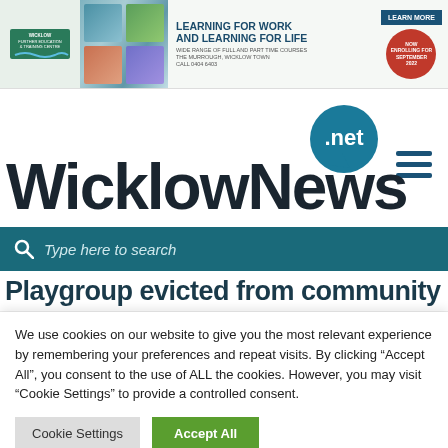[Figure (screenshot): Wicklow Further Education and Training Centre banner advertisement with logo, photos, headline 'LEARNING FOR WORK AND LEARNING FOR LIFE', 'LEARN MORE' button, and 'NOW ENROLLING FOR SEPTEMBER 2022' red circular badge.]
[Figure (logo): WicklowNews.net logo with large bold text 'WicklowNews' and a teal speech bubble containing '.net', plus hamburger menu icon.]
Type here to search
Playgroup evicted from community hall
We use cookies on our website to give you the most relevant experience by remembering your preferences and repeat visits. By clicking “Accept All”, you consent to the use of ALL the cookies. However, you may visit “Cookie Settings” to provide a controlled consent.
Cookie Settings
Accept All